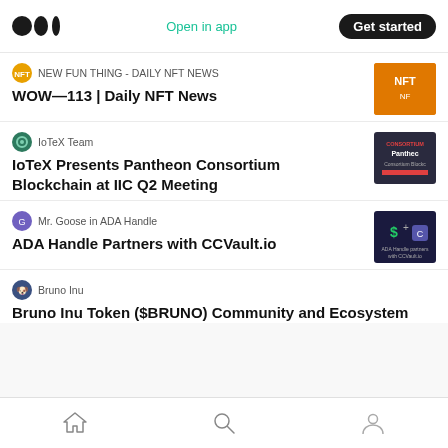Medium app header with logo, Open in app link, and Get started button
NEW FUN THING - DAILY NFT NEWS
WOW—113 | Daily NFT News
IoTeX Team
IoTeX Presents Pantheon Consortium Blockchain at IIC Q2 Meeting
Mr. Goose in ADA Handle
ADA Handle Partners with CCVault.io
Bruno Inu
Bruno Inu Token ($BRUNO) Community and Ecosystem
Home | Search | Profile navigation icons